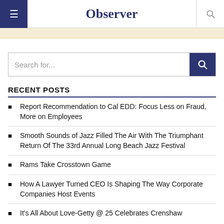Observer
RECENT POSTS
Report Recommendation to Cal EDD: Focus Less on Fraud, More on Employees
Smooth Sounds of Jazz Filled The Air With The Triumphant Return Of The 33rd Annual Long Beach Jazz Festival
Rams Take Crosstown Game
How A Lawyer Turned CEO Is Shaping The Way Corporate Companies Host Events
It's All About Love-Getty @ 25 Celebrates Crenshaw